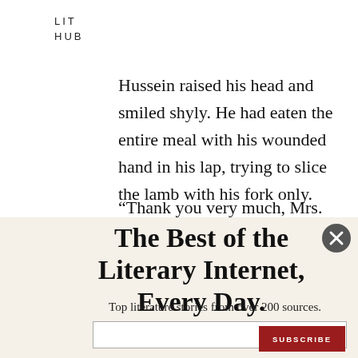LIT HUB
Hussein raised his head and smiled shyly. He had eaten the entire meal with his wounded hand in his lap, trying to slice the lamb with his fork only.
“Thank you very much, Mrs.
The Best of the Literary Internet, Every Day.
Top literature stories from over 200 sources.